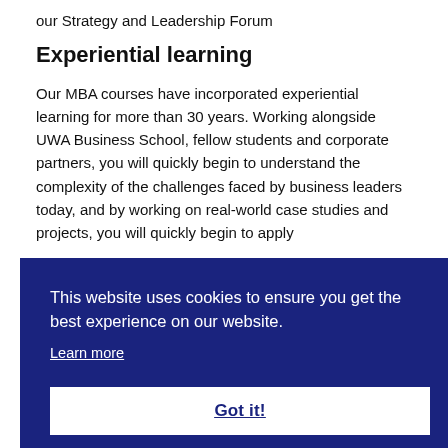our Strategy and Leadership Forum
Experiential learning
Our MBA courses have incorporated experiential learning for more than 30 years. Working alongside UWA Business School, fellow students and corporate partners, you will quickly begin to understand the complexity of the challenges faced by business leaders today, and by working on real-world case studies and projects, you will quickly begin to apply
[Figure (screenshot): Cookie consent banner with dark navy blue background. Text reads: 'This website uses cookies to ensure you get the best experience on our website.' with a 'Learn more' underlined link, and a white 'Got it!' button with bold underlined text.]
like Negotiation Behaviour and Organisational